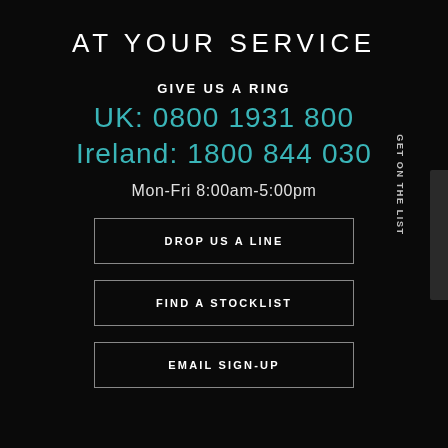AT YOUR SERVICE
GIVE US A RING
UK: 0800 1931 800
Ireland: 1800 844 030
Mon-Fri 8:00am-5:00pm
DROP US A LINE
FIND A STOCKLIST
EMAIL SIGN-UP
GET ON THE LIST